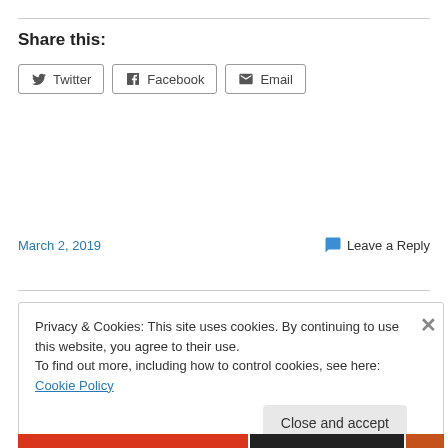Share this:
Twitter  Facebook  Email
March 2, 2019
Leave a Reply
Privacy & Cookies: This site uses cookies. By continuing to use this website, you agree to their use.
To find out more, including how to control cookies, see here: Cookie Policy
Close and accept